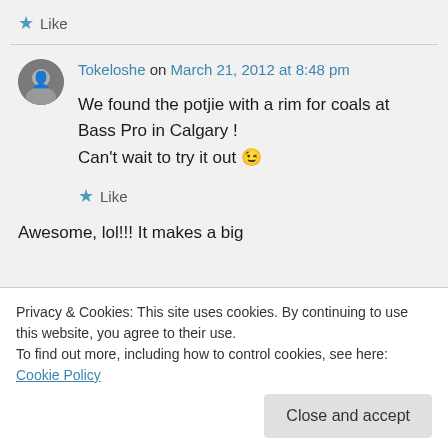★ Like
Tokeloshe on March 21, 2012 at 8:48 pm
We found the potjie with a rim for coals at Bass Pro in Calgary ! Can't wait to try it out 😉
★ Like
Privacy & Cookies: This site uses cookies. By continuing to use this website, you agree to their use. To find out more, including how to control cookies, see here: Cookie Policy
Close and accept
Awesome, lol!!! It makes a big